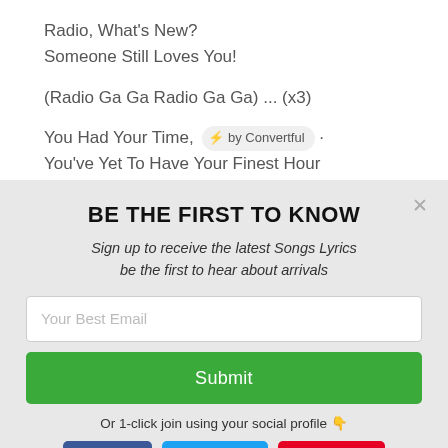Radio, What's New?
Someone Still Loves You!
(Radio Ga Ga Radio Ga Ga) ... (x3)
You Had Your Time, ⚡ by Convertful
You've Yet To Have Your Finest Hour
BE THE FIRST TO KNOW
Sign up to receive the latest Songs Lyrics be the first to hear about arrivals
Your Best Email
Submit
Or 1-click join using your social profile 👇
👍 Like   Follow   Follow